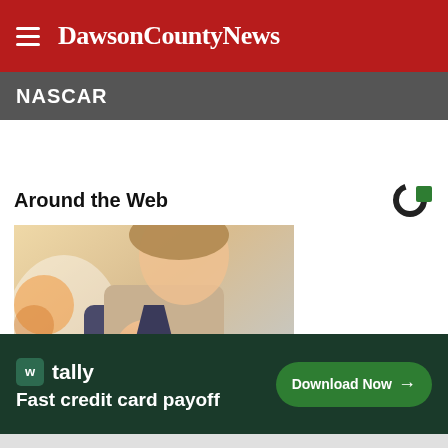DawsonCountyNews
NASCAR
Around the Web
[Figure (photo): Woman in business attire looking at her wrist/smartwatch, holding a pen, blurred background]
[Figure (infographic): Tally app advertisement: 'Fast credit card payoff' with Download Now button]